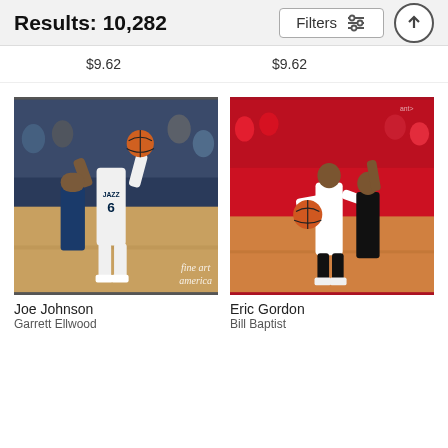Results: 10,282
$9.62    $9.62
[Figure (photo): Basketball player Joe Johnson wearing Utah Jazz jersey number 6, shooting over a defender in a packed arena. Crowd visible in background. Fine Art America watermark.]
Joe Johnson
Garrett Ellwood
[Figure (photo): Basketball player Eric Gordon in white Rockets uniform going up for a layup or shot attempt against a defender in a packed arena with red-clad crowd.]
Eric Gordon
Bill Baptist